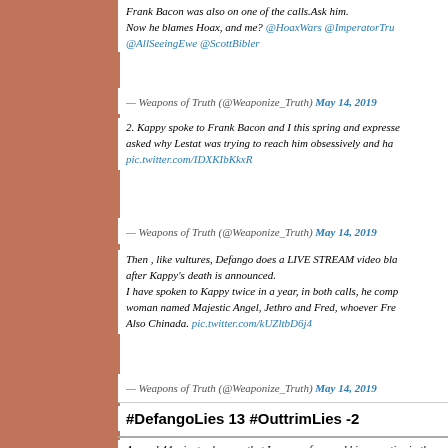Frank Bacon was also on one of the calls.Ask him.
Now he blames Hoax, and me? @HoaxWars @ImperatorTru @AllSeeingEwe @ScottBibler
— Weapons of Truth (@Weaponize_Truth) May 14, 2019
2. Kappy spoke to Frank Bacon and I this spring and expresse asked why Lestat was trying to reach him obsessively and ha pic.twitter.com/IDXKIbKkxR
— Weapons of Truth (@Weaponize_Truth) May 14, 2019
Then , like vultures, Defango does a LIVE STREAM video bla after Kappy's death is announced.
I have spoken to Kappy twice in a year, in both calls, he comp woman named Majestic Angel, Jethro and Fred, whoever Fre Also Chinada. pic.twitter.com/kUZltbD6j4
— Weapons of Truth (@Weaponize_Truth) May 14, 2019
#DefangoLies 13 #OuttrimLies -2
Around 44 minutes he says that I never referenced his narrative in th day we learned about Isaac Kappy's death, May 14 2019 in the US.